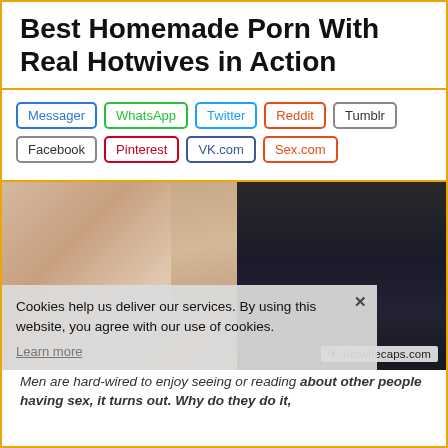Best Homemade Porn With Real Hotwives in Action
Messager
WhatsApp
Twitter
Reddit
Tumblr
Facebook
Pinterest
VK.com
Sex.com
[Figure (photo): Screenshot from adult video showing two people, partially blurred, with watermark hotwifecaps.com]
Cookies help us deliver our services. By using this website, you agree with our use of cookies.
Learn more
Men are hard-wired to enjoy seeing or reading about other people having sex, it turns out. Why do they do it,